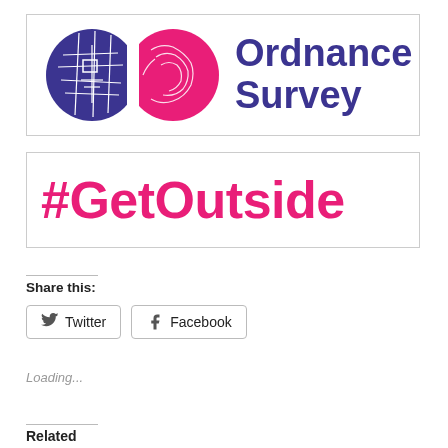[Figure (logo): Ordnance Survey logo with two circular map icons (purple and pink/red) and text 'Ordnance Survey' in dark purple, inside a bordered rectangle]
[Figure (illustration): #GetOutside hashtag in large bold pink/magenta text inside a bordered rectangle]
Share this:
Twitter
Facebook
Loading...
Related